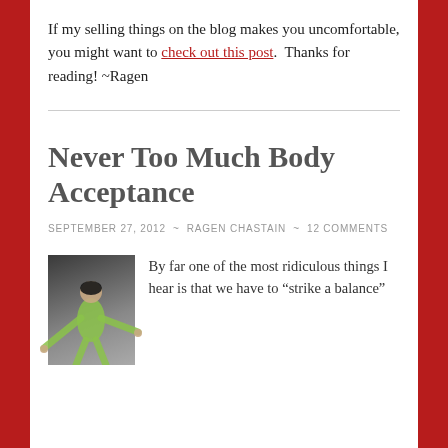If my selling things on the blog makes you uncomfortable, you might want to check out this post.  Thanks for reading! ~Ragen
Never Too Much Body Acceptance
SEPTEMBER 27, 2012 ~ RAGEN CHASTAIN ~ 12 COMMENTS
[Figure (photo): A person dancing with arms extended, wearing a yellow-green outfit, against a gray background]
By far one of the most ridiculous things I hear is that we have to "strike a balance"